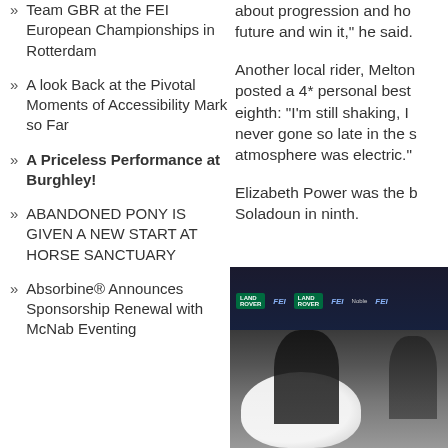Team GBR at the FEI European Championships in Rotterdam
A look Back at the Pivotal Moments of Accessibility Mark so Far
A Priceless Performance at Burghley!
ABANDONED PONY IS GIVEN A NEW START AT HORSE SANCTUARY
Absorbine® Announces Sponsorship Renewal with McNab Eventing
about progression and ho future and win it," he said.
Another local rider, Melton posted a 4* personal best eighth: "I'm still shaking, I never gone so late in the s atmosphere was electric."
Elizabeth Power was the b Soladoun in ninth.
[Figure (photo): A rider in equestrian attire at what appears to be an FEI event press conference, with Land Rover and FEI branding in the background. A white trophy/plate is visible in the foreground.]